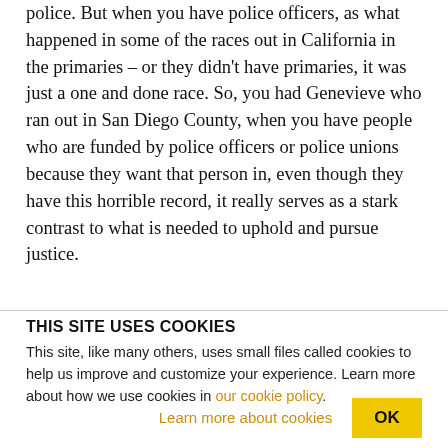police. But when you have police officers, as what happened in some of the races out in California in the primaries – or they didn't have primaries, it was just a one and done race. So, you had Genevieve who ran out in San Diego County, when you have people who are funded by police officers or police unions because they want that person in, even though they have this horrible record, it really serves as a stark contrast to what is needed to uphold and pursue justice.
THIS SITE USES COOKIES
This site, like many others, uses small files called cookies to help us improve and customize your experience. Learn more about how we use cookies in our cookie policy.
Learn more about cookies   OK